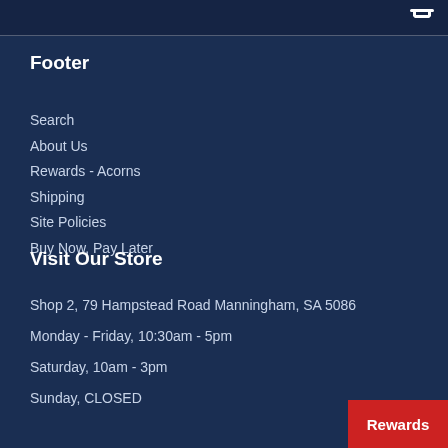Footer
Search
About Us
Rewards - Acorns
Shipping
Site Policies
Buy Now, Pay Later
Visit Our Store
Shop 2, 79 Hampstead Road Manningham, SA 5086
Monday - Friday, 10:30am - 5pm
Saturday, 10am - 3pm
Sunday, CLOSED